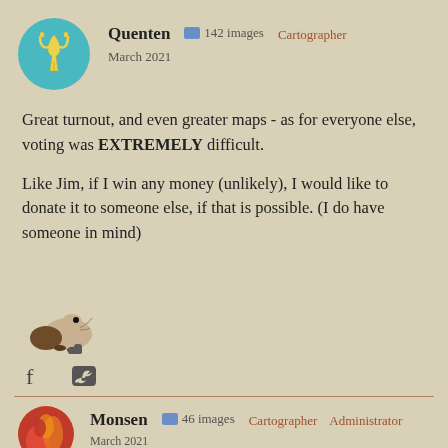[Figure (illustration): User avatar for Quenten: circular teal background with yellow Ukrainian trident symbol]
Quenten  🖼 142 images  Cartographer
March 2021
Great turnout, and even greater maps - as for everyone else, voting was EXTREMELY difficult.

Like Jim, if I win any money (unlikely), I would like to donate it to someone else, if that is possible. (I do have someone in mind)
[Figure (photo): Small mouse/rat photo used as a reaction emoji]
[Figure (illustration): Social share icons: Facebook (f) and Twitter (bird icon)]
[Figure (illustration): User avatar for Monsen: circular with red/orange floral or abstract design]
Monsen  🖼 46 images  Cartographer  Administrator
March 2021